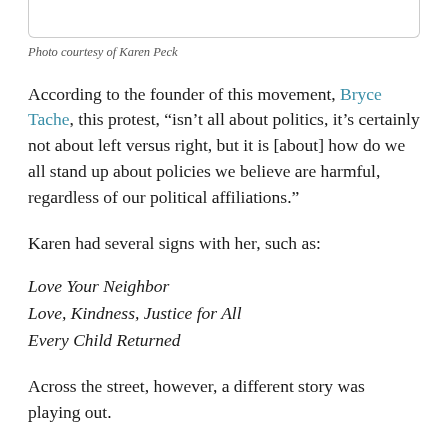[Figure (photo): Photo placeholder box (top portion of photo, cropped at top of page)]
Photo courtesy of Karen Peck
According to the founder of this movement, Bryce Tache, this protest, “isn’t all about politics, it’s certainly not about left versus right, but it is [about] how do we all stand up about policies we believe are harmful, regardless of our political affiliations.”
Karen had several signs with her, such as:
Love Your Neighbor
Love, Kindness, Justice for All
Every Child Returned
Across the street, however, a different story was playing out.
For the first time at the...